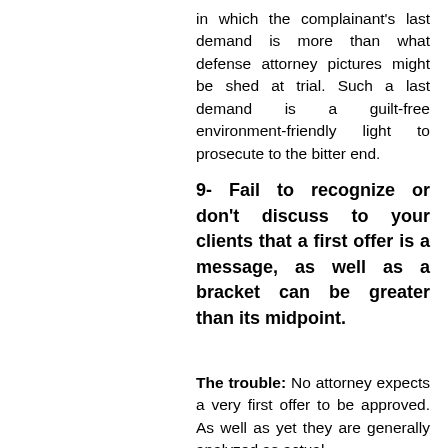in which the complainant's last demand is more than what defense attorney pictures might be shed at trial. Such a last demand is a guilt-free environment-friendly light to prosecute to the bitter end.
9- Fail to recognize or don't discuss to your clients that a first offer is a message, as well as a bracket can be greater than its midpoint.
The trouble: No attorney expects a very first offer to be approved. As well as yet they are generally analyzed as actual